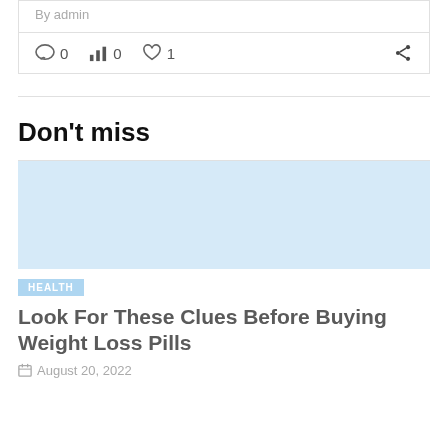By admin
0  0  1
Don't miss
[Figure (photo): Light blue placeholder image for article thumbnail]
HEALTH
Look For These Clues Before Buying Weight Loss Pills
August 20, 2022